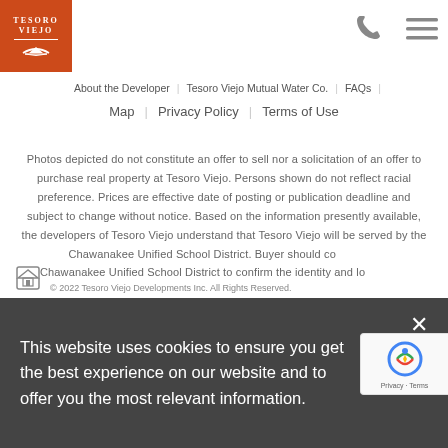[Figure (logo): Tesoro Viejo orange square logo with white text and boat icon]
About the Developer | Tesoro Viejo Mutual Water Co. | FAQs | Map | Privacy Policy | Terms of Use
Photos depicted do not constitute an offer to sell nor a solicitation of an offer to purchase real property at Tesoro Viejo. Persons shown do not reflect racial preference. Prices are effective date of posting or publication deadline and subject to change without notice. Based on the information presently available, the developers of Tesoro Viejo understand that Tesoro Viejo will be served by the Chawanakee Unified School District. Buyer should contact Chawanakee Unified School District to confirm the identity and location of the specific schools planned to service Tesoro Viejo, including the High School. Representations and all materials are subject to the California Department of Real Estate public report and all other disclosure documents.
This website uses cookies to ensure you get the best experience on our website and to offer you the most relevant information.
© 2022 Tesoro Viejo Developments Inc. All Rights Reserved.